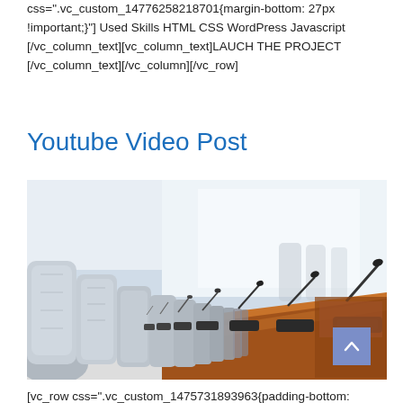css=".vc_custom_14776258218701{margin-bottom: 27px !important;}"] Used Skills HTML CSS WordPress Javascript [/vc_column_text][vc_column_text]LAUCH THE PROJECT [/vc_column_text][/vc_column][/vc_row]
Youtube Video Post
[Figure (photo): Conference room with leather chairs along a long wooden table, with multiple microphones placed on the table, receding into the background.]
[vc_row css=".vc_custom_1475731893963{padding-bottom: